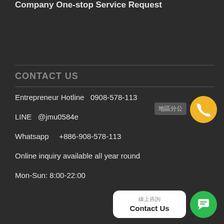Company One-stop Service Request
CONTACT US
Entrepreneur Hotline  0908-578-113
LINE  @jmu0584e
Whatsapp    +886-908-578-113
Online inquiry available all year round
Mon-Sun: 8:00-22:00
[Figure (other): Yellow circular phone call button icon]
[Figure (other): Gray small button with Chinese characters]
[Figure (other): White rounded Contact Us popup with Chinese label and green chat icon button]